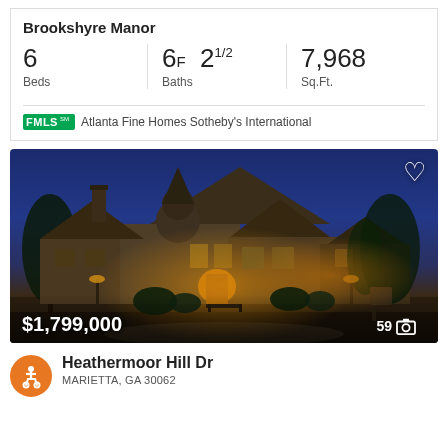Brookshyre Manor
| Beds | Baths | Sq.Ft. |
| --- | --- | --- |
| 6 | 6F  21/2 | 7,968 |
FMLS  Atlanta Fine Homes Sotheby's International
[Figure (photo): Night-time exterior photo of a large luxury stone manor house with dramatic lighting, illuminated arched entrance, steep gabled roofline, and professional landscaping. Price overlay shows $1,799,000 and photo count 59.]
$1,799,000
59
Heathermoor Hill Dr
MARIETTA, GA 30062